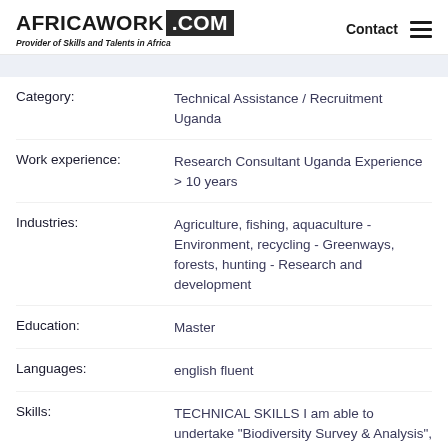AFRICAWORK .COM — Provider of Skills and Talents in Africa | Contact
Category: Technical Assistance / Recruitment Uganda
Work experience: Research Consultant Uganda Experience > 10 years
Industries: Agriculture, fishing, aquaculture - Environment, recycling - Greenways, forests, hunting - Research and development
Education: Master
Languages: english fluent
Skills: TECHNICAL SKILLS I am able to undertake "Biodiversity Survey & Analysis", particularly for landscape fauna & flora assessment using quantitative and qualitative research methods & data